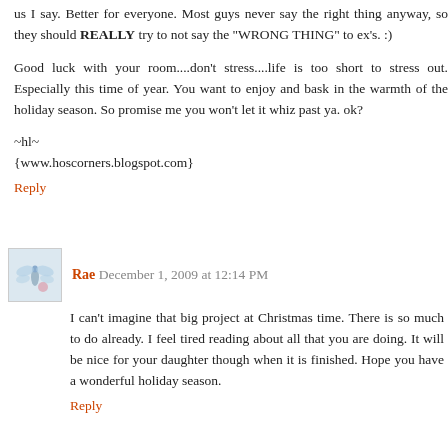us I say. Better for everyone. Most guys never say the right thing anyway, so they should REALLY try to not say the "WRONG THING" to ex's. :)
Good luck with your room....don't stress....life is too short to stress out. Especially this time of year. You want to enjoy and bask in the warmth of the holiday season. So promise me you won't let it whiz past ya. ok?
~hl~
{www.hoscorners.blogspot.com}
Reply
Rae December 1, 2009 at 12:14 PM
I can't imagine that big project at Christmas time. There is so much to do already. I feel tired reading about all that you are doing. It will be nice for your daughter though when it is finished. Hope you have a wonderful holiday season.
Reply